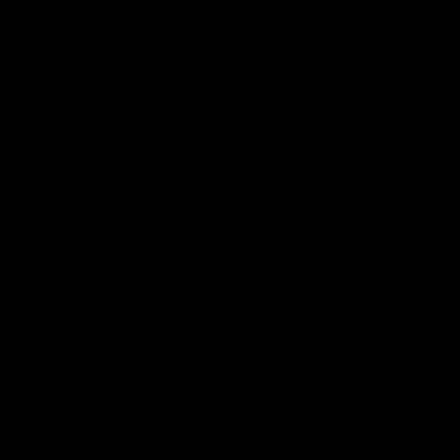by the House of Representatives earlie from the usual suspects. (And to be fai set of usual suspects.) On the balance workable in its current form. Ideally the carbon emissions." There seem to be n from real "market forces" the system wo
Then of course there is always the issu
The Obama administration has privately c taxpayers up to $200 billion a year, the eq percent.

A previously unreleased analysis prepared new taxes would be between $100 billion t administration's estimate, the cost per Am

A second memorandum, which was prepa election, says this about climate change p percent of GDP, making them equal in sca

The documents (PDF) were obtained und Competitive Enterprise Institute and
Wow. An upper end estimate of $1761. combat falling consumer prices! Your M